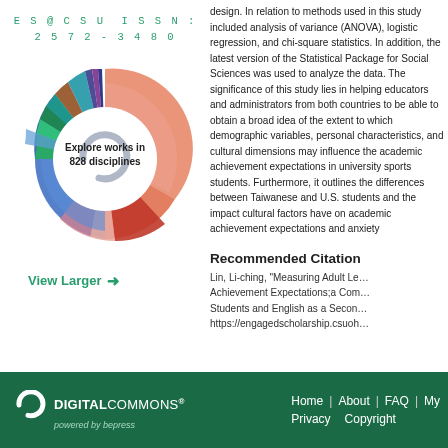ES@CSU ISSN: 2572-3480
[Figure (infographic): Circular donut/sunburst chart with colorful segments representing 828 disciplines. Center text reads 'Explore works in 828 disciplines'. A stylized letter C logo appears in the center white area.]
View Larger →
design. In relation to methods used in this study included analysis of variance (ANOVA), logistic regression, and chi-square statistics. In addition, the latest version of the Statistical Package for Social Sciences was used to analyze the data. The significance of this study lies in helping educators and administrators from both countries to be able to obtain a broad idea of the extent to which demographic variables, personal characteristics, and cultural dimensions may influence the academic achievement expectations in university sports students. Furthermore, it outlines the differences between Taiwanese and U.S. students and the impact cultural factors have on academic achievement expectations and anxiety
Recommended Citation
Lin, Li-ching, "Measuring Adult Learners' Academic Achievement and Achievement Expectations;a Comparison of Taiwanese University Sports Students and English as a Second Language (ESL) Students in the U.S." https://engagedscholarship.csuohio.edu/es/vol10/iss1/2
DIGITAL COMMONS® powered by bepress   Home | About | FAQ | My Account   Privacy   Copyright